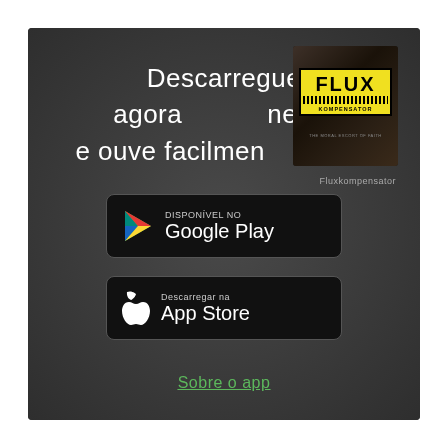Descarregue agora gratuitamente
e ouve facilmente o teu app.
[Figure (illustration): Flux Kompensator album cover - dark textured background with yellow label reading FLUX KOMPENSATOR]
[Figure (screenshot): Google Play store download button with play icon, text DISPONÍVEL NO Google Play]
Fluxkompensator
[Figure (screenshot): App Store download button with Apple logo, text Descarregar na App Store]
Sobre o app